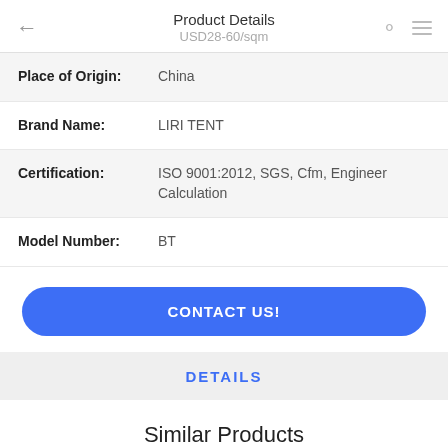Product Details / USD28-60/sqm
| Field | Value |
| --- | --- |
| Place of Origin: | China |
| Brand Name: | LIRI TENT |
| Certification: | ISO 9001:2012, SGS, Cfm, Engineer Calculation |
| Model Number: | BT |
CONTACT US!
DETAILS
Similar Products